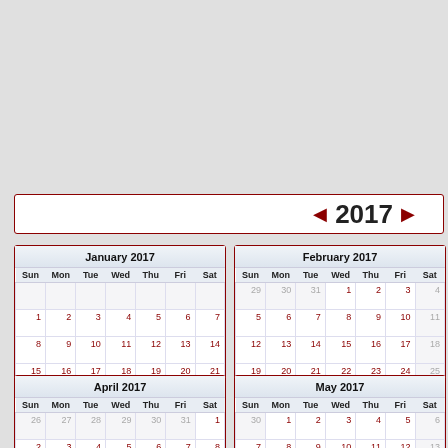[Figure (other): Year navigation bar showing 2017 with left and right arrows]
[Figure (other): January 2017 calendar grid]
[Figure (other): February 2017 calendar grid with colored dot indicators]
[Figure (other): April 2017 calendar grid (partial)]
[Figure (other): May 2017 calendar grid (partial)]